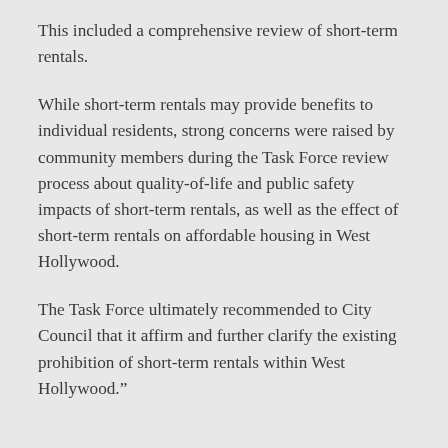This included a comprehensive review of short-term rentals.
While short-term rentals may provide benefits to individual residents, strong concerns were raised by community members during the Task Force review process about quality-of-life and public safety impacts of short-term rentals, as well as the effect of short-term rentals on affordable housing in West Hollywood.
The Task Force ultimately recommended to City Council that it affirm and further clarify the existing prohibition of short-term rentals within West Hollywood.”